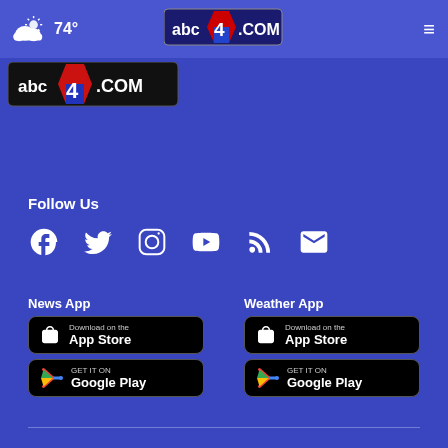74° abc4.com
[Figure (logo): abc4.com logo banner in top left of content area]
Follow Us
[Figure (infographic): Social media icons: Facebook, Twitter, Instagram, YouTube, RSS, Email]
News App
[Figure (infographic): Download on the App Store button (black)]
[Figure (infographic): GET IT ON Google Play button (black)]
Weather App
[Figure (infographic): Download on the App Store button (black)]
[Figure (infographic): GET IT ON Google Play button (black)]